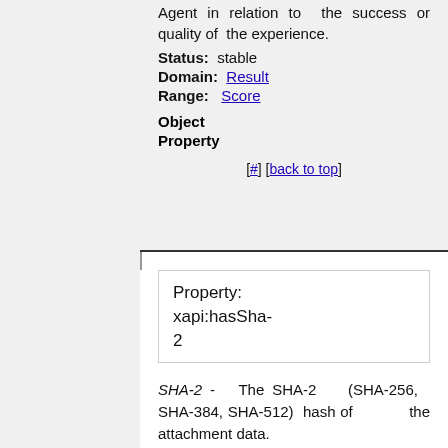Agent in relation to the success or quality of the experience.
Status: stable
Domain: Result
Range: Score
Object Property
[#] [back to top]
Property: xapi:hasSha-2
SHA-2 - The SHA-2 (SHA-256, SHA-384, SHA-512) hash of the attachment data. SHA-2...